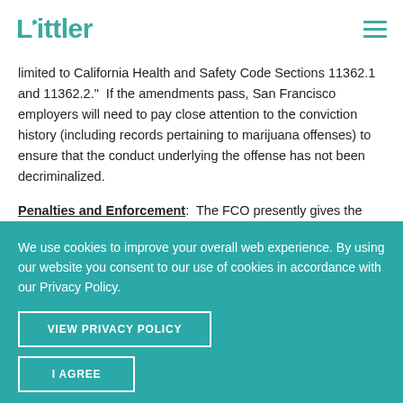Littler
limited to California Health and Safety Code Sections 11362.1 and 11362.2."  If the amendments pass, San Francisco employers will need to pay close attention to the conviction history (including records pertaining to marijuana offenses) to ensure that the conduct underlying the offense has not been decriminalized.
Penalties and Enforcement:  The FCO presently gives the Office of Labor Standards Enforcement (OLSE) authority to enforce the
We use cookies to improve your overall web experience. By using our website you consent to our use of cookies in accordance with our Privacy Policy.
VIEW PRIVACY POLICY
I AGREE